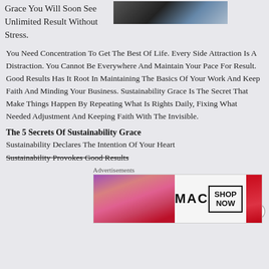Grace You Will Soon See Unlimited Result Without Stress.
[Figure (photo): Dark photograph of a person, partially visible in upper right corner]
You Need Concentration To Get The Best Of Life. Every Side Attraction Is A Distraction. You Cannot Be Everywhere And Maintain Your Pace For Result. Good Results Has It Root In Maintaining The Basics Of Your Work And Keep Faith And Minding Your Business. Sustainability Grace Is The Secret That Make Things Happen By Repeating What Is Rights Daily, Fixing What Needed Adjustment And Keeping Faith With The Invisible.
The 5 Secrets Of Sustainability Grace
Sustainability Declares The Intention Of Your Heart
Sustainability Provokes Good Results
Advertisements
[Figure (photo): MAC cosmetics advertisement banner showing lipsticks in purple, pink, and red with MAC logo and SHOP NOW button]